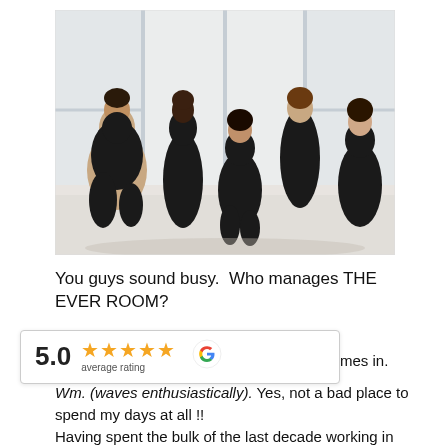[Figure (photo): Five women in black athletic wear posing together in a bright white studio space. They are sitting/kneeling on the floor in various poses.]
You guys sound busy.  Who manages THE EVER ROOM?
[Figure (infographic): Google review rating overlay showing 5.0 average rating with 5 gold stars and Google G logo]
ill comes in.
Wm. (waves enthusiastically). Yes, not a bad place to spend my days at all !!
Having spent the bulk of the last decade working in